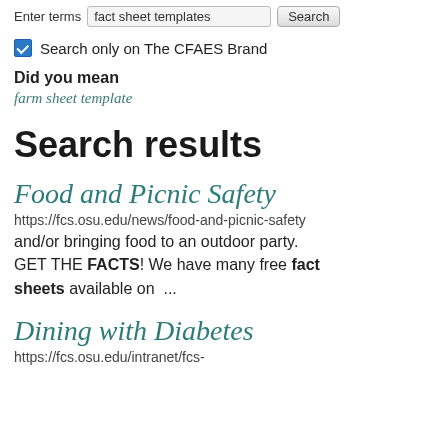Enter terms  fact sheet templates  Search
Search only on The CFAES Brand
Did you mean
farm sheet template
Search results
Food and Picnic Safety
https://fcs.osu.edu/news/food-and-picnic-safety
and/or bringing food to an outdoor party. GET THE FACTS! We have many free fact sheets available on ...
Dining with Diabetes
https://fcs.osu.edu/intranet/fcs-